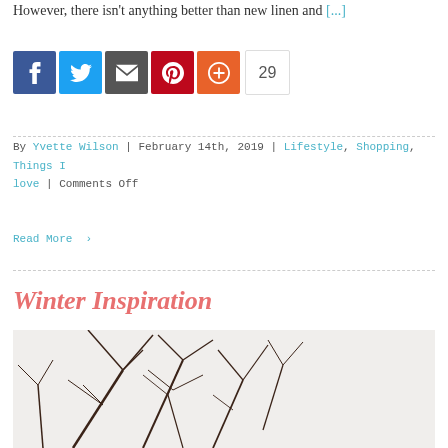However, there isn't anything better than new linen and [...]
[Figure (other): Social media sharing buttons: Facebook, Twitter, Email, Pinterest, Plus, and a count of 29]
By Yvette Wilson | February 14th, 2019 | Lifestyle, Shopping, Things I love | Comments Off
Read More >
Winter Inspiration
[Figure (photo): Photo of bare winter branches arranged against a light beige/white background]